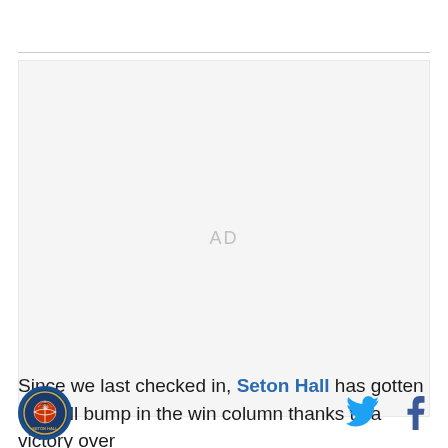[Figure (other): Advertisement placeholder box with 'AD' text centered]
Since we last checked in, Seton Hall has gotten a small bump in the win column thanks to a victory over
[Figure (logo): Seton Hall Pirates circular logo in blue and red]
[Figure (other): Twitter bird icon in blue]
[Figure (other): Facebook 'f' icon in dark blue]